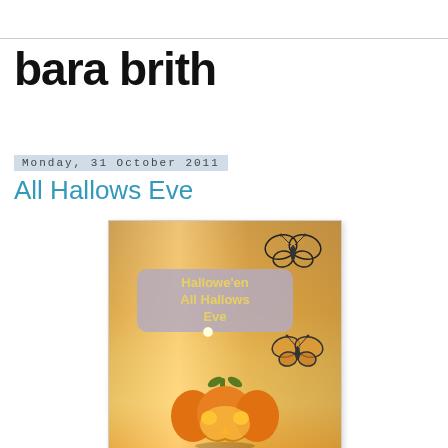bara brith
Monday, 31 October 2011
All Hallows Eve
[Figure (photo): Photo of a Halloween window display with a lit pumpkin jack-o-lantern at the bottom, two butterfly decorations, and a rounded-rectangle sign reading 'Hallowe'en / All Hallows / Eve' with a glowing light, against warm orange candlelit curtains in the background.]